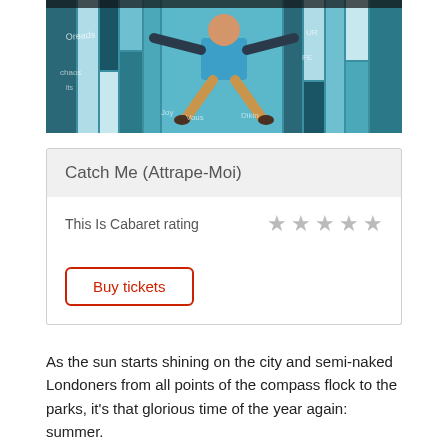[Figure (photo): A performer in a blue t-shirt and khaki trousers jumping with arms raised against a colorful teal/blue geometric stage backdrop with words written on it]
Catch Me (Attrape-Moi)
This Is Cabaret rating
Buy tickets
As the sun starts shining on the city and semi-naked Londoners from all points of the compass flock to the parks, it's that glorious time of the year again: summer.